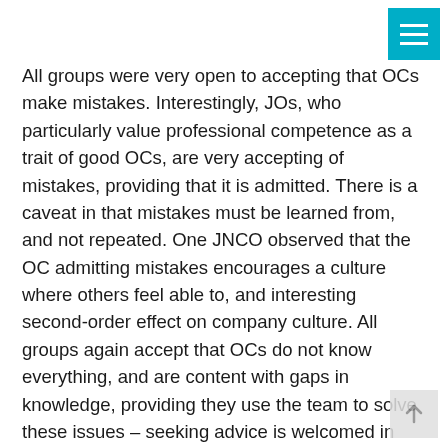All groups were very open to accepting that OCs make mistakes. Interestingly, JOs, who particularly value professional competence as a trait of good OCs, are very accepting of mistakes, providing that it is admitted. There is a caveat in that mistakes must be learned from, and not repeated. One JNCO observed that the OC admitting mistakes encourages a culture where others feel able to, and interesting second-order effect on company culture. All groups again accept that OCs do not know everything, and are content with gaps in knowledge, providing they use the team to solve these issues – seeking advice is welcomed in problem solving. Most groups are content with heavy workloads for the company or platoons provided they are genuine demands, and accept difficult decisions once they are explained. Across the board, not being fit, or not being an amazing soldier is accepted, so long as the OC 'turns up and puts the effort in'. In short, most soldiers and